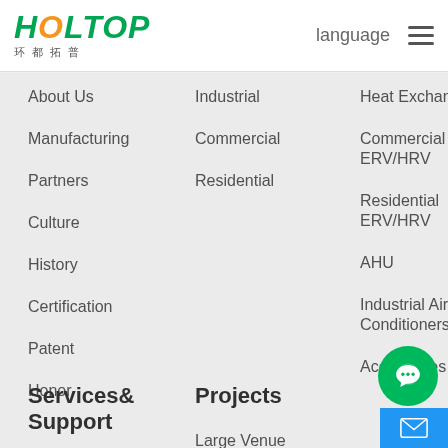[Figure (logo): HOLTOP logo with green and orange stylized text and Chinese characters 环都拓普]
language ≡
About Us
Manufacturing
Partners
Culture
History
Certification
Patent
Honor
Industrial
Commercial
Residential
Heat Exchangers
Commercial ERV/HRV
Residential ERV/HRV
AHU
Industrial Air Conditioners
Accessories
Services& Support
Projects
Contact Us
Large Venue
Hospital